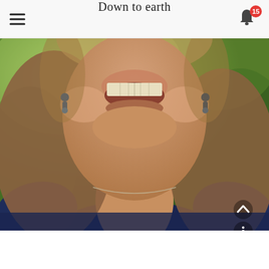Down to earth
[Figure (photo): Close-up portrait photo of a smiling woman with blue drop earrings and a thin metal necklace, wearing a dark navy top, photographed against a green blurred background.]